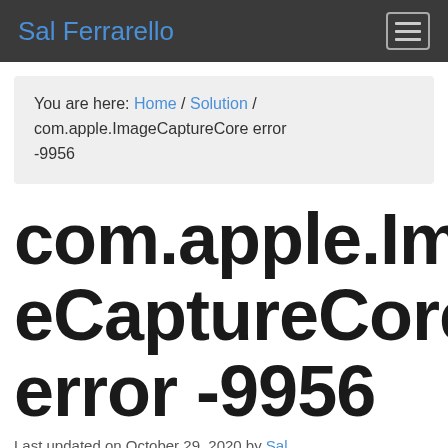Sal Ferrarello
You are here: Home / Solution / com.apple.ImageCaptureCore error -9956
com.apple.ImageCaptureCore error -9956
Last updated on October 29, 2020 by Sal